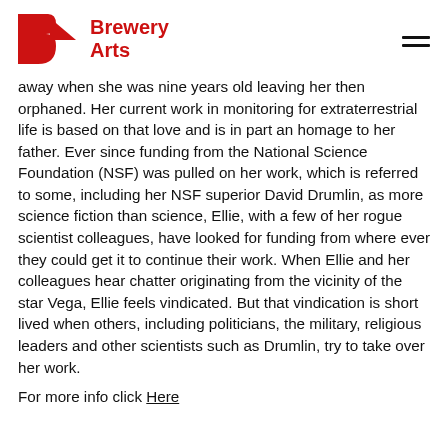Brewery Arts
away when she was nine years old leaving her then orphaned. Her current work in monitoring for extraterrestrial life is based on that love and is in part an homage to her father. Ever since funding from the National Science Foundation (NSF) was pulled on her work, which is referred to some, including her NSF superior David Drumlin, as more science fiction than science, Ellie, with a few of her rogue scientist colleagues, have looked for funding from where ever they could get it to continue their work. When Ellie and her colleagues hear chatter originating from the vicinity of the star Vega, Ellie feels vindicated. But that vindication is short lived when others, including politicians, the military, religious leaders and other scientists such as Drumlin, try to take over her work.
For more info click Here